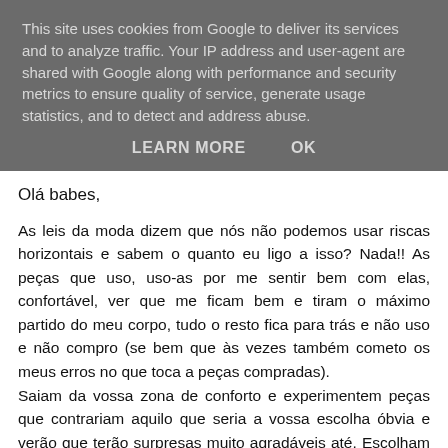This site uses cookies from Google to deliver its services and to analyze traffic. Your IP address and user-agent are shared with Google along with performance and security metrics to ensure quality of service, generate usage statistics, and to detect and address abuse.
LEARN MORE   OK
Olá babes,
As leis da moda dizem que nós não podemos usar riscas horizontais e sabem o quanto eu ligo a isso? Nada!! As peças que uso, uso-as por me sentir bem com elas, confortável, ver que me ficam bem e tiram o máximo partido do meu corpo, tudo o resto fica para trás e não uso e não compro (se bem que às vezes também cometo os meus erros no que toca a peças compradas).
Saiam da vossa zona de conforto e experimentem peças que contrariam aquilo que seria a vossa escolha óbvia e verão que terão surpresas muito agradáveis até. Escolham peças confortáveis, nada de coisas demasiado justas que